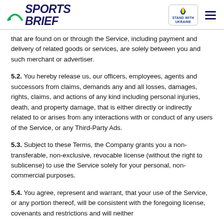Sports Brief | Stand With Ukraine
that are found on or through the Service, including payment and delivery of related goods or services, are solely between you and such merchant or advertiser.
5.2. You hereby release us, our officers, employees, agents and successors from claims, demands any and all losses, damages, rights, claims, and actions of any kind including personal injuries, death, and property damage, that is either directly or indirectly related to or arises from any interactions with or conduct of any users of the Service, or any Third-Party Ads.
5.3. Subject to these Terms, the Company grants you a non-transferable, non-exclusive, revocable license (without the right to sublicense) to use the Service solely for your personal, non-commercial purposes.
5.4. You agree, represent and warrant, that your use of the Service, or any portion thereof, will be consistent with the foregoing license, covenants and restrictions and will neither